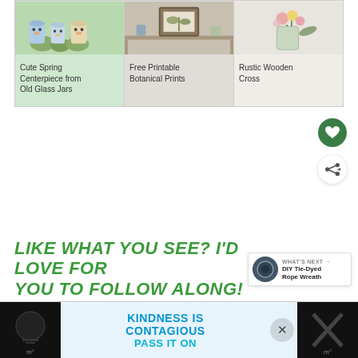[Figure (photo): Three craft items: painted mason jar chicks with green moss balls on a green table surface]
[Figure (photo): Rustic wooden shelf with botanical prints and small decor items]
[Figure (photo): Glass jar with pink and yellow flowers against a light wall]
Cute Spring Centerpiece from Old Glass Jars
Free Printable Botanical Prints
Rustic Wooden Cross
LIKE WHAT YOU SEE? I'D LOVE FOR YOU TO FOLLOW ALONG!
WHAT'S NEXT → DIY Tie-Dyed Rope Wreath
KINDNESS IS CONTAGIOUS PASS IT ON